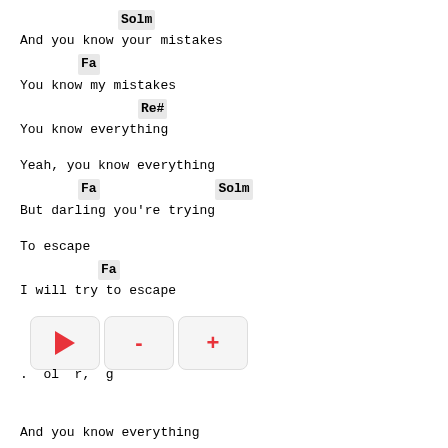Solm
And you know your mistakes
Fa
You know my mistakes
Re#
You know everything
Yeah, you know everything
Fa    Solm
But darling you're trying
To escape
Fa
I will try to escape
Re#
...out r...g
And you know everything